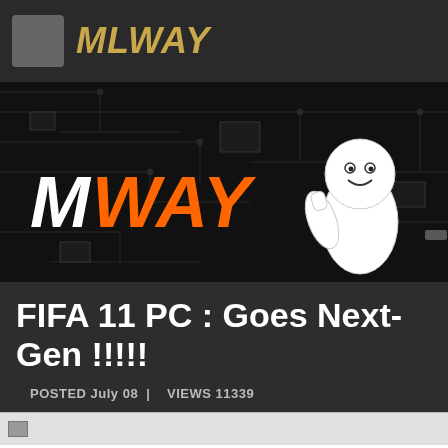MLWAY
[Figure (illustration): MLWAY logo banner with circuit board background and cartoon mouse mascot giving thumbs up]
FIFA 11 PC : Goes Next-Gen !!!!!
POSTED July 08 | VIEWS 11339
[Figure (screenshot): Partial preview image at bottom of page]